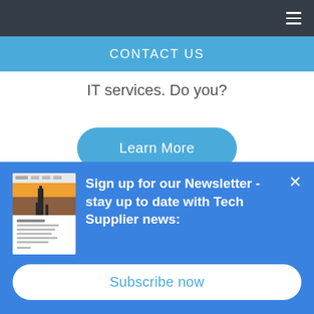Navigation bar with hamburger menu
CONTACT US
IT services. Do you?
[Figure (other): Learn More button - rounded blue pill-shaped button with white text]
[Figure (other): Newsletter popup with thumbnail image, sign-up text, and Subscribe now button]
Sign up for our Newsletter - stay up to date with Tech Supplier news:
Subscribe now